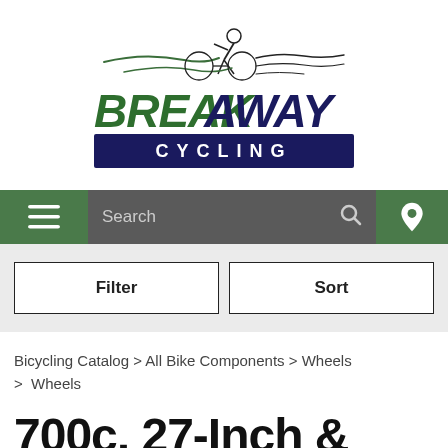[Figure (logo): Breakaway Cycling logo with cyclist graphic above stylized text reading BREAK AWAY with CYCLING on a dark navy bar below]
Search
Filter
Sort
Bicycling Catalog > All Bike Components > Wheels > Wheels
700c, 27-Inch & 650c